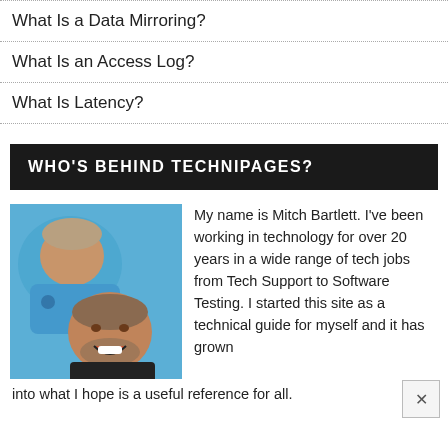What Is a Data Mirroring?
What Is an Access Log?
What Is Latency?
WHO'S BEHIND TECHNIPAGES?
[Figure (photo): Photo of two people smiling, appearing to be lying down, one in a blue jacket]
My name is Mitch Bartlett. I've been working in technology for over 20 years in a wide range of tech jobs from Tech Support to Software Testing. I started this site as a technical guide for myself and it has grown into what I hope is a useful reference for all.